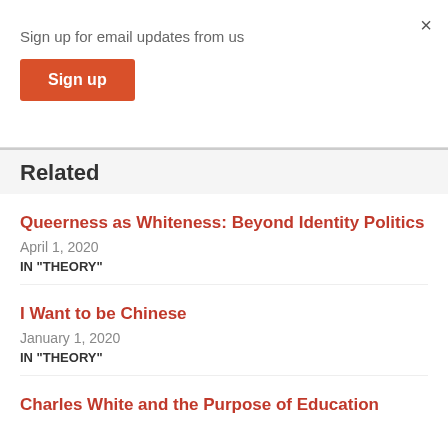Sign up for email updates from us
Sign up
Related
Queerness as Whiteness: Beyond Identity Politics
April 1, 2020
IN "THEORY"
I Want to be Chinese
January 1, 2020
IN "THEORY"
Charles White and the Purpose of Education